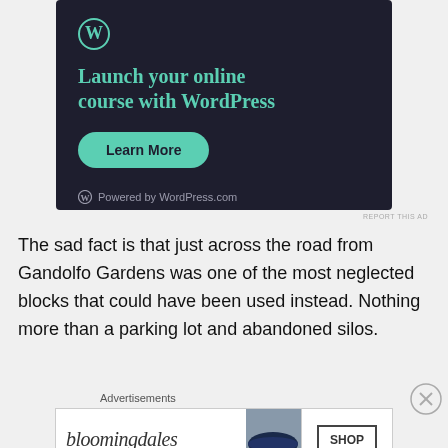[Figure (screenshot): WordPress.com advertisement banner with dark navy background. Text reads 'Launch your online course with WordPress' in teal color with a 'Learn More' teal button and 'Powered by WordPress.com' logo at bottom.]
REPORT THIS AD
The sad fact is that just across the road from Gandolfo Gardens was one of the most neglected blocks that could have been used instead. Nothing more than a parking lot and abandoned silos.
Advertisements
[Figure (screenshot): Bloomingdale's advertisement banner showing 'bloomingdales' logo in stylized text, 'View Today's Top Deals!' text, a woman wearing a large hat, and a 'SHOP NOW >' button.]
REPORT THIS AD